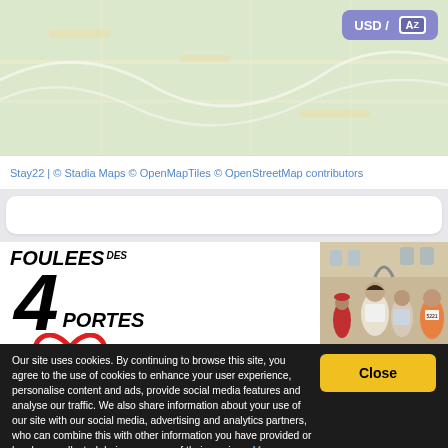[Figure (map): Map area with greenish background showing a geographic map view]
[Figure (screenshot): USD / AZ button in purple/blue color, top right of map]
Stay22 | © Stadia Maps © OpenMapTiles © OpenStreetMap contributors
[Figure (illustration): White search/filter bar below map]
[Figure (logo): Foulees des 4 Portes event logo with red heart/A symbol on white background]
[Figure (photo): Photo of runners in a race, historical building in background]
Our site uses cookies. By continuing to browse this site, you agree to the use of cookies to enhance your user experience, personalise content and ads, provide social media features and analyse our traffic. We also share information about your use of our site with our social media, advertising and analytics partners, who can combine this with other information you have provided or has been collected during your use of their services. More information